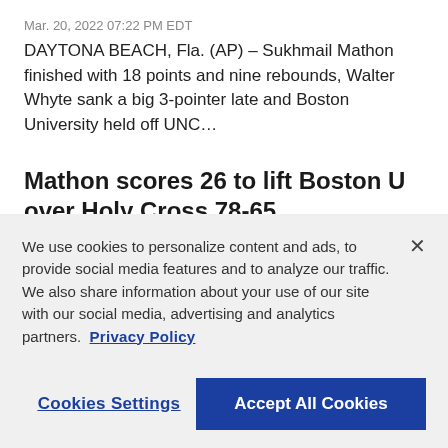Mar. 20, 2022 07:22 PM EDT
DAYTONA BEACH, Fla. (AP) – Sukhmail Mathon finished with 18 points and nine rebounds, Walter Whyte sank a big 3-pointer late and Boston University held off UNC…
Mathon scores 26 to lift Boston U over Holy Cross 78-65
Feb. 16, 2022 09:42 PM EST
WORCESTER, Mass. (AP) – Sukhmail Mathon had a career-high 26 points plus 13 rebounds as Boston University beat Holy Cross
We use cookies to personalize content and ads, to provide social media features and to analyze our traffic. We also share information about your use of our site with our social media, advertising and analytics partners. Privacy Policy
Cookies Settings
Accept All Cookies